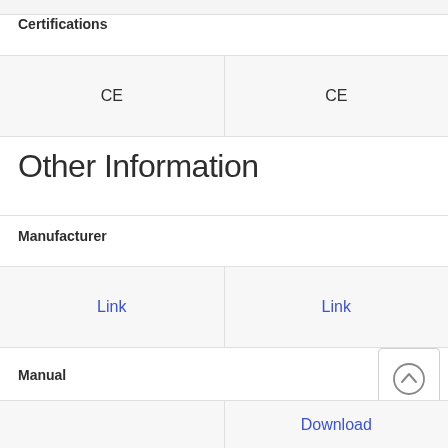Certifications
| CE | CE |
Other Information
Manufacturer
| Link | Link |
Manual
|  | Download |